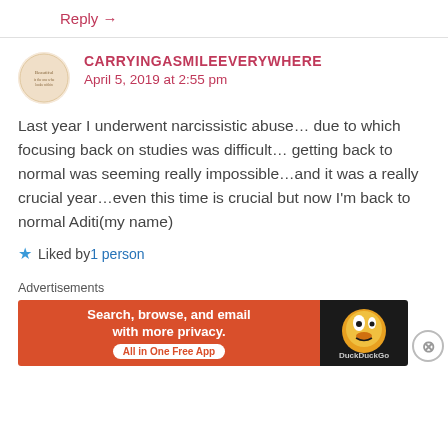Reply →
CARRYINGASMILEEVERYWHERE
April 5, 2019 at 2:55 pm
Last year I underwent narcissistic abuse… due to which focusing back on studies was difficult… getting back to normal was seeming really impossible…and it was a really crucial year…even this time is crucial but now I'm back to normal Aditi(my name)
Liked by 1 person
Advertisements
[Figure (other): DuckDuckGo advertisement banner: 'Search, browse, and email with more privacy. All in One Free App' on an orange background with DuckDuckGo logo on dark background]